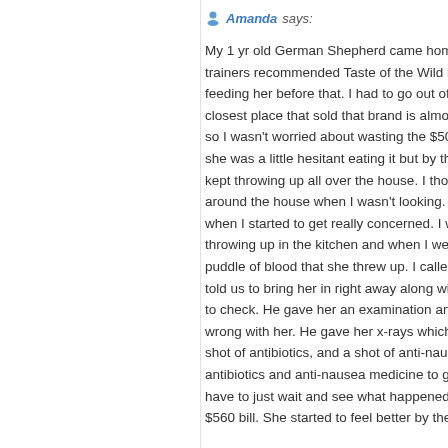Amanda says: My 1 yr old German Shepherd came home f... trainers recommended Taste of the Wild inst... feeding her before that. I had to go out of m... closest place that sold that brand is almost 4... so I wasn't worried about wasting the $50 (b... she was a little hesitant eating it but by the th... kept throwing up all over the house. I though... around the house when I wasn't looking. Her... when I started to get really concerned. I was... throwing up in the kitchen and when I went... puddle of blood that she threw up. I called o... told us to bring her in right away along with... to check. He gave her an examination and as... wrong with her. He gave her x-rays which di... shot of antibiotics, and a shot of anti-nausea... antibiotics and anti-nausea medicine to give... have to just wait and see what happened. So... $560 bill. She started to feel better by the ne...